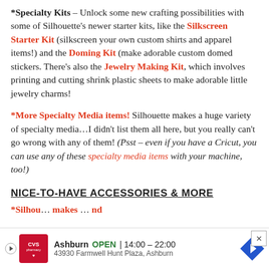*Specialty Kits – Unlock some new crafting possibilities with some of Silhouette's newer starter kits, like the Silkscreen Starter Kit (silkscreen your own custom shirts and apparel items!) and the Doming Kit (make adorable custom domed stickers. There's also the Jewelry Making Kit, which involves printing and cutting shrink plastic sheets to make adorable little jewelry charms!
*More Specialty Media items! Silhouette makes a huge variety of specialty media…I didn't list them all here, but you really can't go wrong with any of them! (Psst – even if you have a Cricut, you can use any of these specialty media items with your machine, too!)
NICE-TO-HAVE ACCESSORIES & MORE
*Silhouette makes … nd
[Figure (screenshot): CVS Pharmacy ad overlay showing store location: Ashburn, OPEN 14:00-22:00, 43930 Farmwell Hunt Plaza, Ashburn, with a navigation arrow icon. A close (X) button is in the top right.]